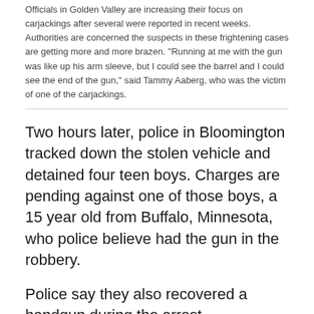Officials in Golden Valley are increasing their focus on carjackings after several were reported in recent weeks. Authorities are concerned the suspects in these frightening cases are getting more and more brazen. "Running at me with the gun was like up his arm sleeve, but I could see the barrel and I could see the end of the gun," said Tammy Aaberg, who was the victim of one of the carjackings.
Two hours later, police in Bloomington tracked down the stolen vehicle and detained four teen boys. Charges are pending against one of those boys, a 15 year old from Buffalo, Minnesota, who police believe had the gun in the robbery.
Police say they also recovered a handgun during the arrest.
The robbery is the fifth carjacking in Golden Valley over the last month.